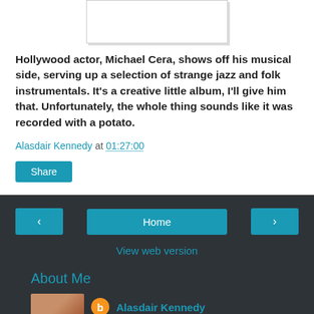[Figure (photo): Partial image placeholder at top of page, mostly cropped out]
Hollywood actor, Michael Cera, shows off his musical side, serving up a selection of strange jazz and folk instrumentals. It's a creative little album, I'll give him that. Unfortunately, the whole thing sounds like it was recorded with a potato.
Alasdair Kennedy at 01:27:00
Share
Home
View web version
About Me
Alasdair Kennedy